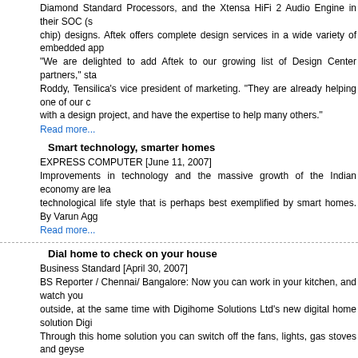Diamond Standard Processors, and the Xtensa HiFi 2 Audio Engine in their SOC (system on a chip) designs. Aftek offers complete design services in a wide variety of embedded app... "We are delighted to add Aftek to our growing list of Design Center partners," sta... Roddy, Tensilica's vice president of marketing. "They are already helping one of our c... with a design project, and have the expertise to help many others."
Read more...
Smart technology, smarter homes
EXPRESS COMPUTER [June 11, 2007]
Improvements in technology and the massive growth of the Indian economy are lea... technological life style that is perhaps best exemplified by smart homes. By Varun Agg...
Read more...
Dial home to check on your house
Business Standard [April 30, 2007]
BS Reporter / Chennai/ Bangalore: Now you can work in your kitchen, and watch you... outside, at the same time with Digihome Solutions Ltd's new digital home solution Digi... Through this home solution you can switch off the fans, lights, gas stoves and geyse... homes while sitting in the office, pre-record a greeting for yourself or your family me... they enter the house, and also send an SMS home without using the mobile. Digihome costs between Rs 1 lakh and Rs 4 lakh and the company is looking at prov... builders for both townships and residential complexes.
Read more...
Our Alliances:
Home | Company | Investors | Media...
IT Services | Embedded Systems | Hardware Engineering | Testin...